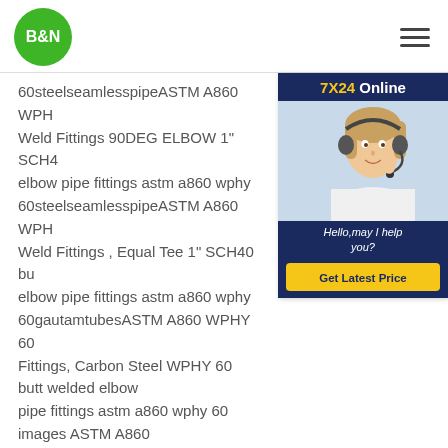[Figure (logo): B&N logo: white text B&N on green circle]
[Figure (illustration): Hamburger menu icon (three horizontal lines)]
[Figure (infographic): 7X24 Online customer service widget with photo of woman wearing headset and Get Latest Price button]
60steelseamlesspipeASTM A860 WPHY Weld Fittings 90DEG ELBOW 1" SCH40 elbow pipe fittings astm a860 wphy 60steelseamlesspipeASTM A860 WPHY Weld Fittings , Equal Tee 1" SCH40 butt elbow pipe fittings astm a860 wphy 60gautamtubesASTM A860 WPHY 60 Fittings, Carbon Steel WPHY 60 butt welded elbow pipe fittings astm a860 wphy 60 images ASTM A860 WPHY 42, 52, 60, 65, 70 Pipe Fittings - Octal SteelASTM A860 WPHY 52, 60, 65, 70 Pipe Fittings ASTM A860 is the standard specification for wrought high strength ferritic steel butt welding. The grade